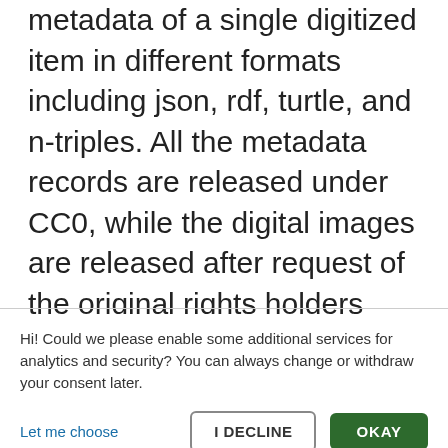metadata of a single digitized item in different formats including json, rdf, turtle, and n-triples. All the metadata records are released under CC0, while the digital images are released after request of the original rights holders under different CC regulations. In addition, the open-source lodlive application is used to help visualize the triple structures, assisting users in better understanding  the data model and its data.
Hi! Could we please enable some additional services for analytics and security? You can always change or withdraw your consent later.